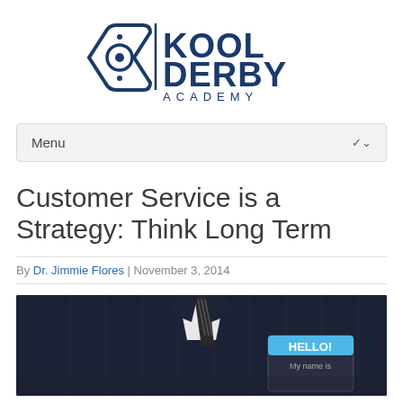[Figure (logo): Kool Derby Academy logo with geometric diamond/arrow shape and text KOOL DERBY ACADEMY]
Menu
Customer Service is a Strategy: Think Long Term
By Dr. Jimmie Flores | November 3, 2014
[Figure (photo): Close-up photo of a person in a dark pinstripe suit with a tie, wearing a blue HELLO name tag badge]